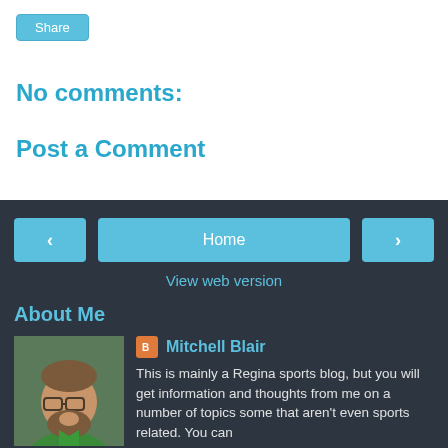Share
No comments:
Post a Comment
‹
Home
›
View web version
About Me
[Figure (photo): Profile photo of Mitchell Blair, a man with glasses and a beard wearing a green shirt]
Mitchell Blair
This is mainly a Regina sports blog, but you will get information and thoughts from me on a number of topics some that aren't even sports related. You can see me on Access 7 in Regina co-hosting a local one hour sports program called Locker Talk highlighting Regina sports. You can hear me on 620 CKRM in Regina along with co-hosting "Sportscage" on